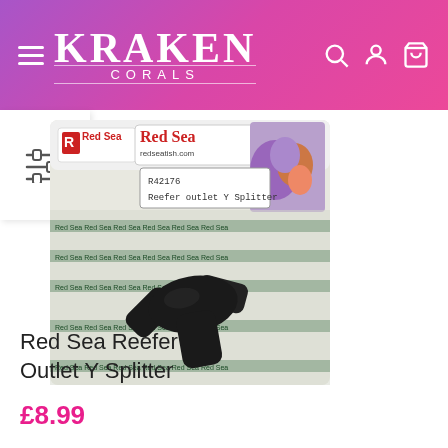[Figure (logo): Kraken Corals website header with pink-purple gradient background, hamburger menu icon, KRAKEN CORALS logo in white, and search, account, cart icons]
[Figure (photo): Red Sea Reefer Outlet Y Splitter product in packaging showing a black Y-shaped plastic splitter piece on Red Sea branded packaging with coral imagery in background]
Red Sea Reefer Outlet Y Splitter
£8.99